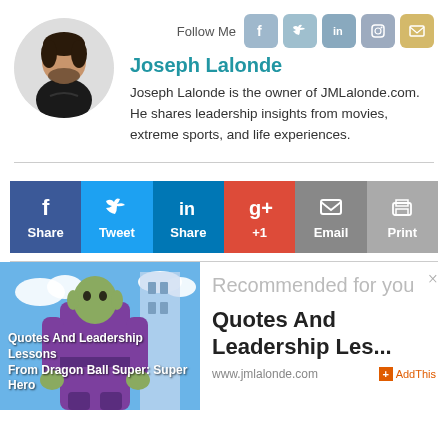[Figure (photo): Circular headshot photo of Joseph Lalonde, a man in a black t-shirt with dark curly hair]
Joseph Lalonde
Joseph Lalonde is the owner of JMLalonde.com. He shares leadership insights from movies, extreme sports, and life experiences.
[Figure (infographic): Social share bar with Facebook Share, Twitter Tweet, LinkedIn Share, Google+ +1, Email, and Print buttons]
[Figure (photo): Image for 'Quotes And Leadership Lessons From Dragon Ball Super: Super Hero' showing an anime character in purple outfit]
Recommended for you
Quotes And Leadership Les...
www.jmlalonde.com
AddThis